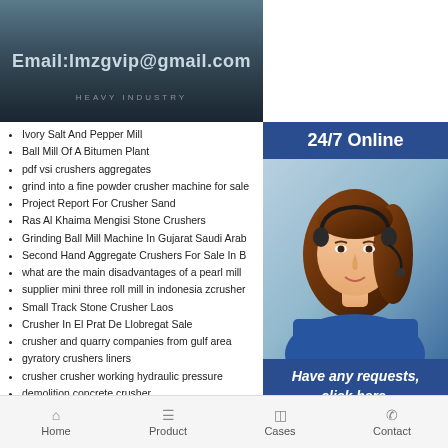[Figure (photo): Header image of industrial machinery with email address overlay: Email:lmzgvip@gmail.com and HEAVY INDUSTRY subtitle]
Ivory Salt And Pepper Mill
Ball Mill Of A Bitumen Plant
pdf vsi crushers aggregates
grind into a fine powder crusher machine for sale
Project Report For Crusher Sand
Ras Al Khaima Mengisi Stone Crushers
Grinding Ball Mill Machine In Gujarat Saudi Arab
Second Hand Aggregate Crushers For Sale In B
what are the main disadvantages of a pearl mill
supplier mini three roll mill in indonesia zcrusher
Small Track Stone Crusher Laos
Crusher In El Prat De Llobregat Sale
crusher and quarry companies from gulf area
gyratory crushers liners
crusher crusher working hydraulic pressure
demolition concrete crusher
used keene rock crusher new and usedin australia
Tugkan Kery Milling Machinery Co
mill lathe combo used for sale
how to grind copper processing plant layout
[Figure (photo): Sidebar with 24/7 Online header, photo of woman with headset, Have any requests click here text, and Quotation button]
Home | Product | Cases | Contact